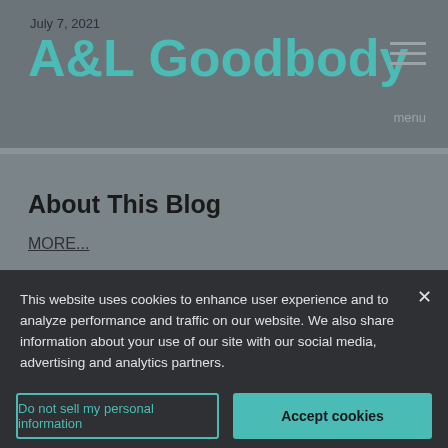July 7, 2021
A&L Goodbody
menu
About This Blog
MORE...
This website uses cookies to enhance user experience and to analyze performance and traffic on our website. We also share information about your use of our site with our social media, advertising and analytics partners.
Do not sell my personal information
Accept cookies